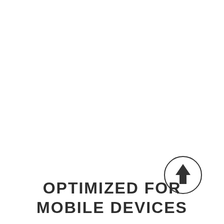[Figure (illustration): A circle with an upward-pointing arrow icon inside, positioned in the lower-right area of the page.]
OPTIMIZED FOR MOBILE DEVICES